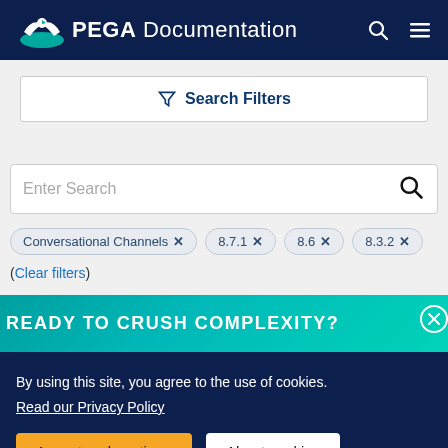PEGA Documentation
Search Filters
Enter Search
Conversational Channels ×  8.7.1 ×  8.6 ×  8.3.2 ×
(Clear filters)
READY TO CRUSH COMPLEXITY?
By using this site, you agree to the use of cookies. Read our Privacy Policy
Accept and continue  About cookies